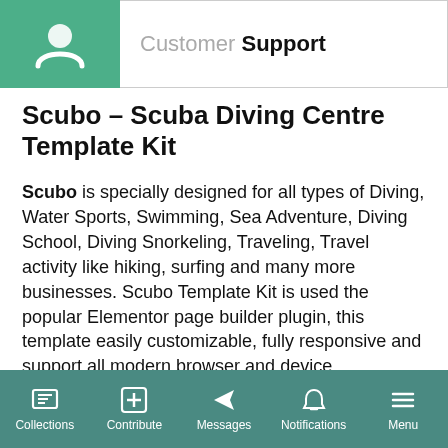Customer Support
Scubo – Scuba Diving Centre Template Kit
Scubo is specially designed for all types of Diving, Water Sports, Swimming, Sea Adventure, Diving School, Diving Snorkeling, Traveling, Travel activity like hiking, surfing and many more businesses. Scubo Template Kit is used the popular Elementor page builder plugin, this template easily customizable, fully responsive and support all modern browser and device.
Kit Key Features:
2 Home pages
No Coding Knowledge
Collections  Contribute  Messages  Notifications  Menu